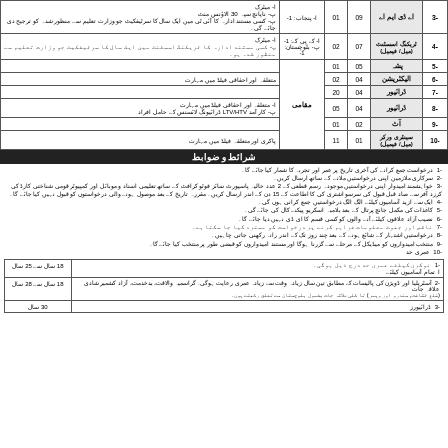| نمبر | عہدہ | بی پی ایس | آسامیاں | صوبہ/علاقہ | تفصیلات |
| --- | --- | --- | --- | --- | --- |
| -3 | اے ڈی ایم اے | 09 | 01 | ا- پنجاب: 1- | ا- میٹرک
پ- ناپانچ سپہ 30 الاؤنس منٹ
پ- کسی مستند ادارہ کا آئی ٹی میں ایک سال کا سرٹیفکیٹ جو وزارت تعلیم سے منظور شدہ کو ترجیح دی جائے گی۔ |
| -4 | ٹریکنگ اسسٹنٹ (میل/ فیمیل) | 07 | 02 | ا- کے پی کے: 1-
پ- بلوچستان: 1- | ا- میٹرک
پ- کسی مستند ادارہ کا ٹریکنگ اسسٹنٹ میں ایک سال کا سرٹیفکیٹ جو وزارت تعلیم سے منظور شدہ ہو۔ |
| -5 | پیشہ | 05 | 01 | مقامی |  |
| -6 | الیکٹریشن | 04 | 02 | مقامی | متعلقہ اور احقاقی فیلڈ میں مہارت |
| -7 | ڈرائیور | 04 | 20 | مقامی |  |
| -8 | ڈرائیور | 04 | 05 | مقامی | ا- متعلقہ اور احقاقی فیلڈ میں مہارت
پ- کار آمد LTV/HTV ڈرائیونگ لائسنس کے حامل افراد |
| -9 | آٹ | 02 | 01 | مقامی |  |
| -10 | سینٹری ورکر (میل/ فیمیل) | 01 | 11 | مقامی | پاکری اور متعلقہ فیلڈ میں مہارت |
شرائط و ضوابط
-1  درخواست جمع کرانے کی آخری تاریخ پر عمر اور تجربہ کا شمار کیا جائے گا۔
-2  سرکاری ملازمین اپنی درخواستیں سائیڈ لائن ملانے کے ساتھ ارسال کریں۔
-3  خواہشمند امیدوار این درخواستیں موجودہ رسم قطعی کے ساتھ 2 عدد حالیہ پاسپورٹ سائز فوٹو کرافٹ کے ساتھ تعلیمی اسناد و موبائل اور کمپیوٹر قومی شناختی کارڈ کی کرزد آفر سے صاد قبل قبول کی سرسو اشتری کی کا اطاعت کے 15 دن کے اندر ارسال کریں۔ مقررہ تاریخ کے بعد موصول ہونے والی درخواستوں کو قبول نہیں کیا جائے گا۔
-4  ایک سے ازید آسامیوں کیلئے الگ الگ درخواستیں جمع کرانی ہوں گی۔
-5  کاغذات کی مکمل جانچ پرتال کے بعد بلامبہ اسکریو پیکنے کال کی جائے گی۔
-6  نصیب آزاد علاقوں کیلئے آنے والوں کو کسی قسم کا ای ڈی نی نہیں دیا جائے گا۔
-7  ناقص اور جھوٹ معلومات فراہم کرنے پر درخواست کو مسترد کیا جا سکتا ہے۔
-8  درخواستیں اشتہار کے شائع ہونے کے بعد چند روز تک کے اندر رانہ رکھنی جاتی چاہیں۔
-9  منتخب امیدواروں کو میڈیکل کے مرحلے سے گزرنا ہوگا اور مستند امیدواروں کو قبضی طور پر منتخب کیا جائے گا۔
-10  عمری حد
| تفصیل | عمری حد |
| --- | --- |
| -1  نوکری کیلئے عمری حد درج ذیل ہوگی۔
ا  تمام آسامیوں کیلئے | 18 سال سے 25 سال |
| -2  آسٹریلیا اور ڈویژن کی پالیسات کے مطابق تین سال زیادہ وقت سے زیادہ عمری رعایت ہوگی۔ گراسمیہ والاقت، بدخدمت، آزاد کشمیر شادی علاقہ جات (ضلع ثقافت، سندرو اور ویمر) تا کلی علاقہ جات بشمول بلوچستان سے تعلق رکھتے ہوں۔ | 18 سال سے 28 سال |
| -3  ڈرائیورز | 30 سال |